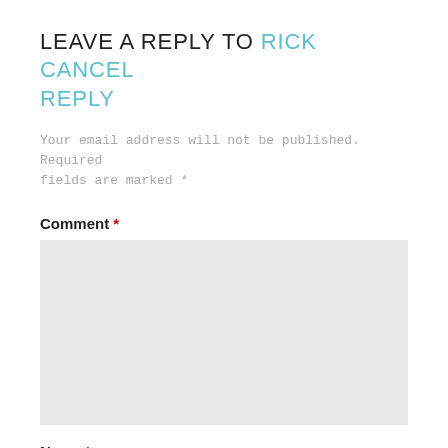LEAVE A REPLY TO RICK CANCEL REPLY
Your email address will not be published. Required fields are marked *
Comment *
[Figure (other): Comment textarea input box (empty, light gray background)]
Name *
[Figure (other): Name text input box (empty, light gray background)]